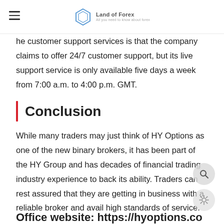Land of Forex — All you need to know about forex
he customer support services is that the company claims to offer 24/7 customer support, but its live support service is only available five days a week from 7:00 a.m. to 4:00 p.m. GMT.
Conclusion
While many traders may just think of HY Options as one of the new binary brokers, it has been part of the HY Group and has decades of financial trading industry experience to back its ability. Traders can rest assured that they are getting in business with a reliable broker and avail high standards of service.
Office website: https://hyoptions.co